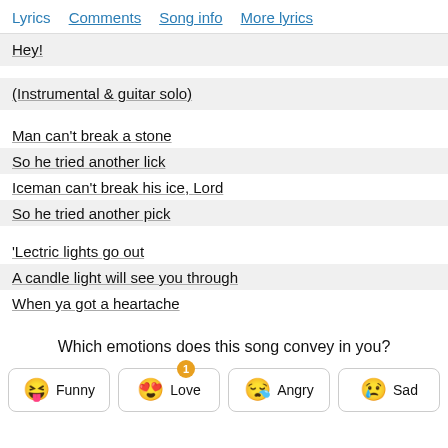Lyrics   Comments   Song info   More lyrics
Hey!
(Instrumental & guitar solo)
Man can't break a stone
So he tried another lick
Iceman can't break his ice, Lord
So he tried another pick
'Lectric lights go out
A candle light will see you through
When ya got a heartache
Which emotions does this song convey in you?
😝 Funny   😍 Love (1)   😪 Angry   😢 Sad